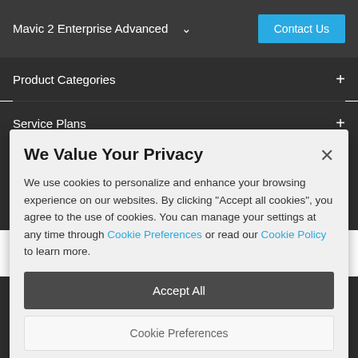Mavic 2 Enterprise Advanced  ∨   Contact Us
Product Categories  +
Service Plans  +
We Value Your Privacy
We use cookies to personalize and enhance your browsing experience on our websites. By clicking "Accept all cookies", you agree to the use of cookies. You can manage your settings at any time through Cookie Preferences or read our Cookie Policy to learn more.
Accept All
Cookie Preferences